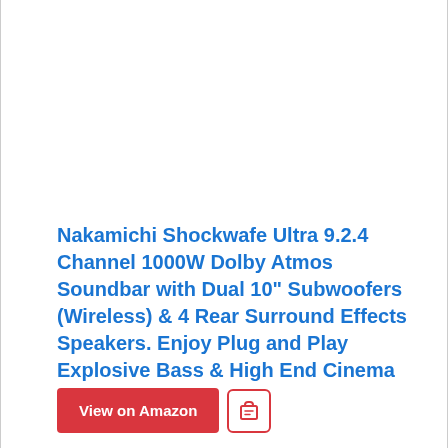Nakamichi Shockwafe Ultra 9.2.4 Channel 1000W Dolby Atmos Soundbar with Dual 10" Subwoofers (Wireless) & 4 Rear Surround Effects Speakers. Enjoy Plug and Play Explosive Bass & High End Cinema Surround
View on Amazon